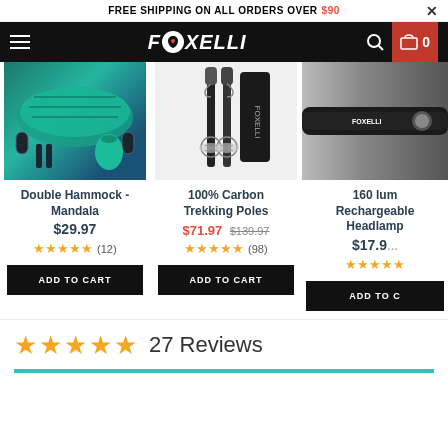FREE SHIPPING ON ALL ORDERS OVER $90
[Figure (logo): Foxelli brand logo in white italic text on black navbar background with hamburger menu, search icon, and red cart icon showing 0]
[Figure (photo): Double Hammock - Mandala product image showing teal/green hammock with carabiners and carrying bag]
Double Hammock - Mandala
$29.97
★★★★★ (12)
ADD TO CART
[Figure (photo): 100% Carbon Trekking Poles product image showing black trekking poles with accessories and carrying case]
100% Carbon Trekking Poles
$71.97 $139.97
★★★★★ (98)
ADD TO CART
[Figure (photo): 160 lumen Rechargeable Headlamp product image showing black headlamp strap]
160 lum Rechargeable Headlamp
$17.9
★★★★★
ADD TO C
27 Reviews